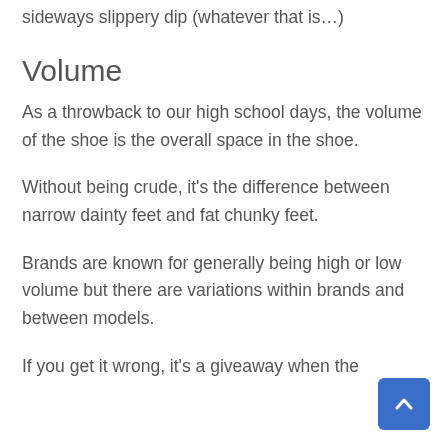sideways slippery dip (whatever that is…)
Volume
As a throwback to our high school days, the volume of the shoe is the overall space in the shoe.
Without being crude, it's the difference between narrow dainty feet and fat chunky feet.
Brands are known for generally being high or low volume but there are variations within brands and between models.
If you get it wrong, it's a giveaway when the